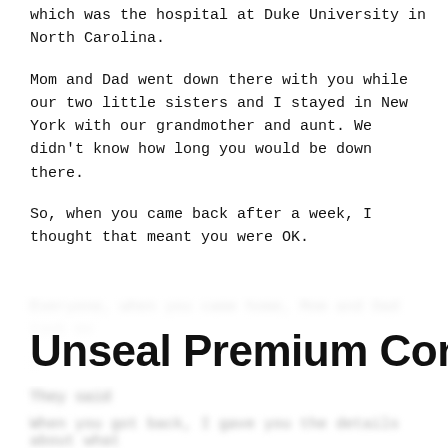which was the hospital at Duke University in North Carolina.
Mom and Dad went down there with you while our two little sisters and I stayed in New York with our grandmother and aunt. We didn't know how long you would be down there.
So, when you came back after a week, I thought that meant you were OK.
Unseal Premium Content